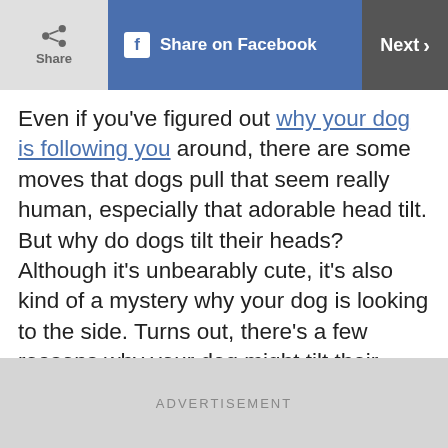Share | Share on Facebook | Next
Even if you've figured out why your dog is following you around, there are some moves that dogs pull that seem really human, especially that adorable head tilt. But why do dogs tilt their heads? Although it's unbearably cute, it's also kind of a mystery why your dog is looking to the side. Turns out, there's a few reasons why your dog might tilt their head when you speak to them, including that they're trying to understand you.
ADVERTISEMENT